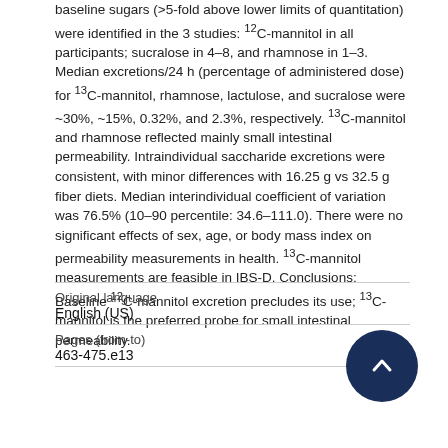baseline sugars (>5-fold above lower limits of quantitation) were identified in the 3 studies: 12C-mannitol in all participants; sucralose in 4–8, and rhamnose in 1–3. Median excretions/24 h (percentage of administered dose) for 13C-mannitol, rhamnose, lactulose, and sucralose were ~30%, ~15%, 0.32%, and 2.3%, respectively. 13C-mannitol and rhamnose reflected mainly small intestinal permeability. Intraindividual saccharide excretions were consistent, with minor differences with 16.25 g vs 32.5 g fiber diets. Median interindividual coefficient of variation was 76.5% (10–90 percentile: 34.6–111.0). There were no significant effects of sex, age, or body mass index on permeability measurements in health. 13C-mannitol measurements are feasible in IBS-D. Conclusions: Baseline 12C-mannitol excretion precludes its use; 13C-mannitol is the preferred probe for small intestinal permeability.
| Original language | Pages (from-to) |
| --- | --- |
| English (US) | 463-475.e13 |